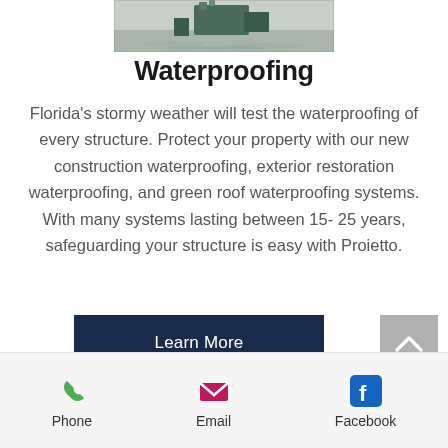[Figure (photo): Partial photo of waterproofing/roofing work, cropped at top]
Waterproofing
Florida's stormy weather will test the waterproofing of every structure. Protect your property with our new construction waterproofing, exterior restoration waterproofing, and green roof waterproofing systems. With many systems lasting between 15- 25 years, safeguarding your structure is easy with Proietto.
[Figure (other): Dark navy 'Learn More' button]
[Figure (other): Gray back-to-top arrow button]
Phone   Email   Facebook